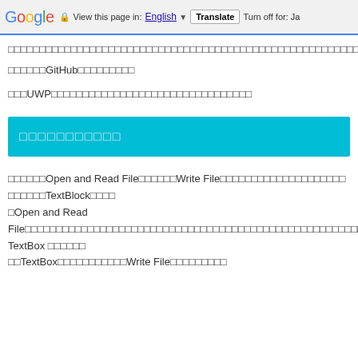Google | View this page in: English | Translate | Turn off for: Ja
□□□□□□□□□□□□□□□□□□□□□□□□□□□□□□□□□□□□□□□□□□□□□□□□□□□□□□□□□□□□□□□□□□□□□□□□
□□□□□□GitHub□□□□□□□□□
□□□UWP□□□□□□□□□□□□□□□□□□□□□□□□□□□
□□□□□□□□□□□
□□□□□□Open and Read File□□□□□□Write File□□□□□□□□□□□□□□□□□□□□□□TextBlock□□□□
□Open and Read File□□□□□□□□□□□□□□□□□□□□□□□□□□□□□□□□□□□□□□□□□□ TextBox □□□□□□
□□TextBox□□□□□□□□□□Write File□□□□□□□□□